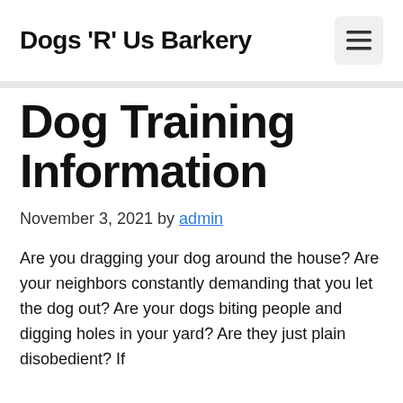Dogs 'R' Us Barkery
Dog Training Information
November 3, 2021 by admin
Are you dragging your dog around the house? Are your neighbors constantly demanding that you let the dog out? Are your dogs biting people and digging holes in your yard? Are they just plain disobedient? If